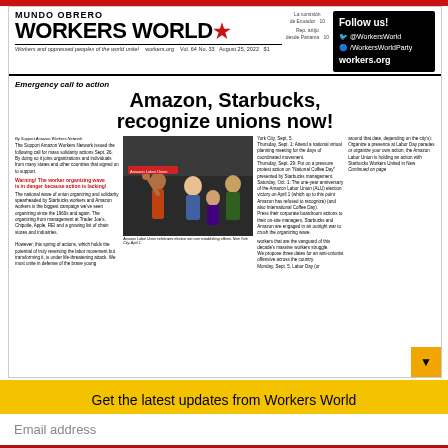[Figure (screenshot): Workers World / Mundo Obrero newspaper front page showing article about Amazon and Starbucks union recognition, with headline 'Amazon, Starbucks, recognize unions now!' and a photo of Amazon Labor Union celebration]
Get the latest updates from Workers World
Email address
Subscribe